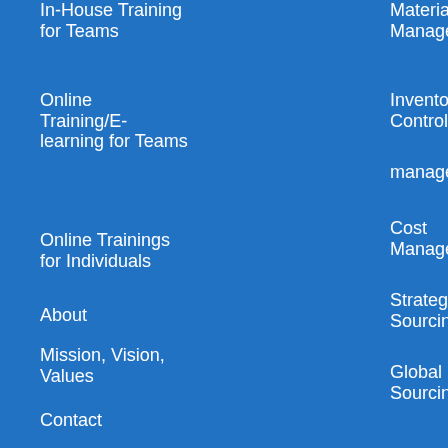In-House Training for Teams
Online Training/E-learning for Teams
Online Trainings for Individuals
About
Mission, Vision, Values
Contact
Papers
Webinars
E-Learning
Samples
Purchasing Management
Purchasing Strategies
Purchasing Negotiation
Legal
Contract Terms
Vendor Management
Materials Management
Inventory Control
management
Cost Management
Strategic Sourcing
Global Sourcing